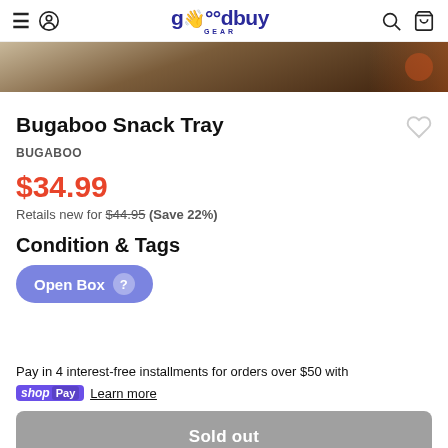goodbuy GEAR
[Figure (photo): Partial product image of a Bugaboo Snack Tray, showing a dark wood-toned surface]
Bugaboo Snack Tray
BUGABOO
$34.99
Retails new for $44.95 (Save 22%)
Condition & Tags
Open Box
Pay in 4 interest-free installments for orders over $50 with shop Pay Learn more
Sold out